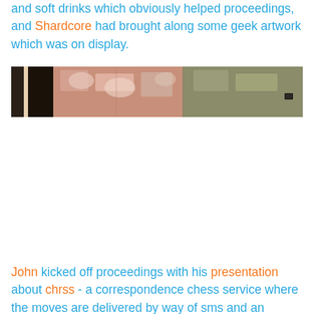and soft drinks which obviously helped proceedings, and Shardcore had brought along some geek artwork which was on display.
[Figure (photo): A wide, low-aspect photograph showing an interior wall scene with pinkish-beige and olive-green tiled or panelled walls, a door frame on the left side, and some surface markings or spots on the wall.]
John kicked off proceedings with his presentation about chrss - a correspondence chess service where the moves are delivered by way of sms and an entrance charge of £5...